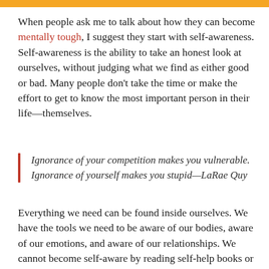[Figure (other): Orange decorative bar at top of page]
When people ask me to talk about how they can become mentally tough, I suggest they start with self-awareness. Self-awareness is the ability to take an honest look at ourselves, without judging what we find as either good or bad. Many people don't take the time or make the effort to get to know the most important person in their life—themselves.
Ignorance of your competition makes you vulnerable. Ignorance of yourself makes you stupid—LaRae Quy
Everything we need can be found inside ourselves. We have the tools we need to be aware of our bodies, aware of our emotions, and aware of our relationships. We cannot become self-aware by reading self-help books or articles.